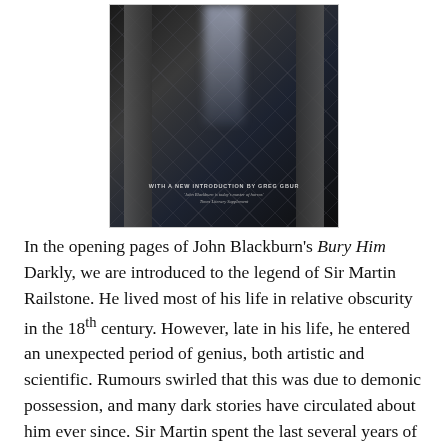[Figure (illustration): Book cover for 'Bury Him Darkly' by John Blackburn, showing dark gothic iron gates with crosshatch pattern, dim atmospheric lighting with a pale vertical light source visible through the gates. Text at bottom reads 'WITH A NEW INTRODUCTION BY GREG GBUR' and a quote from Times Literary Supplement: 'John Blackburn is today's master of horror.']
In the opening pages of John Blackburn's Bury Him Darkly, we are introduced to the legend of Sir Martin Railstone. He lived most of his life in relative obscurity in the 18th century. However, late in his life, he entered an unexpected period of genius, both artistic and scientific. Rumours swirled that this was due to demonic possession, and many dark stories have circulated about him ever since. Sir Martin spent the last several years of his life furiously at work in almost total isolation. Upon his death, he decreed that all his work from this period be buried with him until the day that a (very specifically described) ancestor could lay claim to the